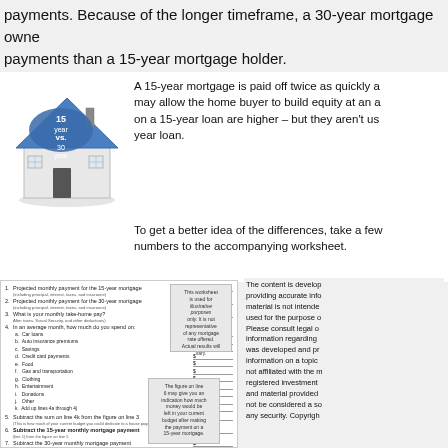payments. Because of the longer timeframe, a 30-year mortgage owner payments than a 15-year mortgage holder.
[Figure (illustration): Illustration of a house with '15 year vs. 30 year' text on the roof, blue roof, white walls]
A 15-year mortgage is paid off twice as quickly a may allow the home buyer to build equity at an a on a 15-year loan are higher – but they aren't us year loan.
To get a better idea of the differences, take a few numbers to the accompanying worksheet.
[Figure (other): Mortgage comparison worksheet with 7 line items for projected monthly payments, take-home pay, and monthly expenses including car loans, auto insurance, savings, credit card payments, food, gas, clothing, entertainment, donations, other, and subtraction lines]
This worksheet is used for illustrative purposes only. It is not representative of any mortgage rate offered. Actual results will vary.
The content is developed providing accurate info material is not intende used for the purpose c Please consult legal o information regarding was developed and pr information on a topic not affiliated with the r registered investment and material provided not be considered a so any security. Copyrigh